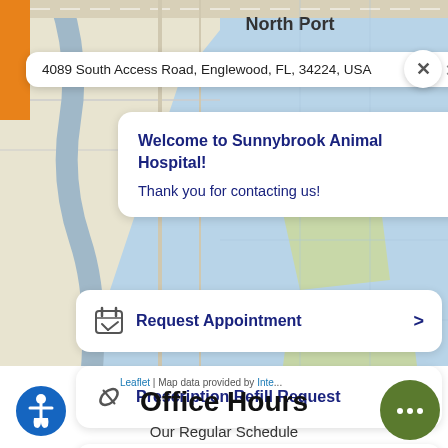[Figure (screenshot): Mobile app screenshot showing a map of the Englewood FL area with interactive overlays including an address bar, welcome message popup, and three action buttons for requesting appointments, prescription refills, and other inquiries.]
4089 South Access Road, Englewood, FL, 34224, USA
Welcome to Sunnybrook Animal Hospital!
Thank you for contacting us!
Request Appointment >
Prescription Refill Request >
Something else >
Leaflet | Map data provided by Inte...
Office Hours
Our Regular Schedule